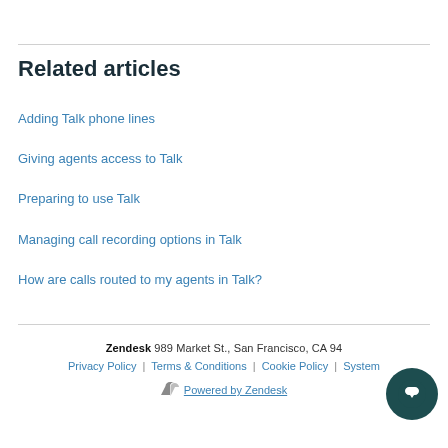Related articles
Adding Talk phone lines
Giving agents access to Talk
Preparing to use Talk
Managing call recording options in Talk
How are calls routed to my agents in Talk?
Zendesk 989 Market St., San Francisco, CA 94 | Privacy Policy | Terms & Conditions | Cookie Policy | System... | Powered by Zendesk